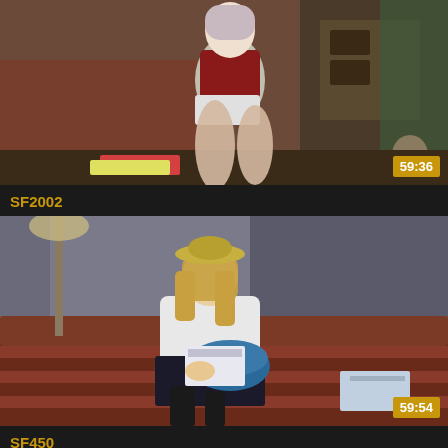[Figure (photo): Video thumbnail showing a woman in a red top and white shorts kneeling on a patterned rug in a room with furniture. Timestamp 59:36 shown bottom right.]
SF2002
[Figure (photo): Video thumbnail showing a woman wearing a hat and white jacket sitting on a striped sofa reading a magazine. Timestamp 59:54 shown bottom right.]
SF450